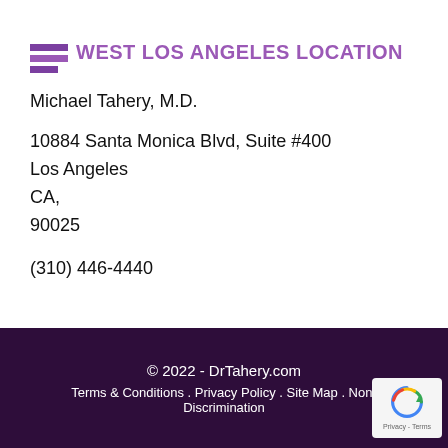WEST LOS ANGELES LOCATION
Michael Tahery, M.D.
10884 Santa Monica Blvd, Suite #400
Los Angeles
CA,
90025
(310) 446-4440
© 2022 - DrTahery.com
Terms & Conditions . Privacy Policy . Site Map . Non-Discrimination